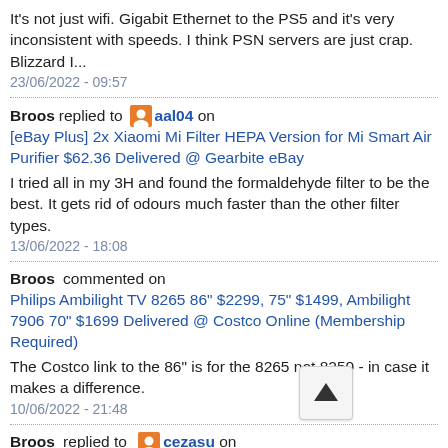It's not just wifi. Gigabit Ethernet to the PS5 and it's very inconsistent with speeds. I think PSN servers are just crap. Blizzard I...
23/06/2022 - 09:57
Broos replied to [avatar] aal04 on [eBay Plus] 2x Xiaomi Mi Filter HEPA Version for Mi Smart Air Purifier $62.36 Delivered @ Gearbite eBay
I tried all in my 3H and found the formaldehyde filter to be the best. It gets rid of odours much faster than the other filter types.
13/06/2022 - 18:08
Broos commented on Philips Ambilight TV 8265 86" $2299, 75" $1499, Ambilight 7906 70" $1699 Delivered @ Costco Online (Membership Required)
The Costco link to the 86" is for the 8265 not 8250 - in case it makes a difference.
10/06/2022 - 21:48
Broos replied to [avatar] cezasu on Philips Ambilight TV 8265 86" $2299, 75" $1499, Ambilight 7906 70" $1699 Delivered @ Costco Online (Membership Required)
How is the picture quality? How does the local dimming manage -